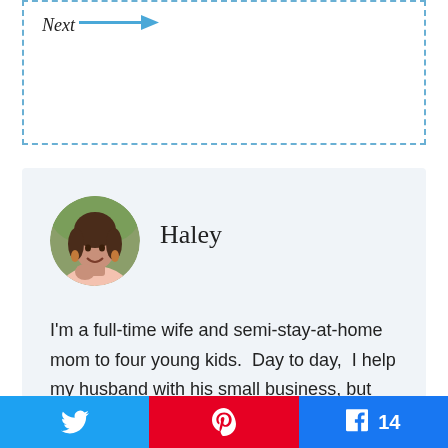[Figure (other): Dashed blue border box with 'Next →' navigation button inside]
[Figure (other): Author bio card with circular profile photo of Haley and her name]
Haley
I'm a full-time wife and semi-stay-at-home mom to four young kids.  Day to day,  I help my husband with his small business, but when  I have any extra time, you can find me
[Figure (other): Social sharing bar with Twitter, Pinterest, and Facebook (14) buttons]